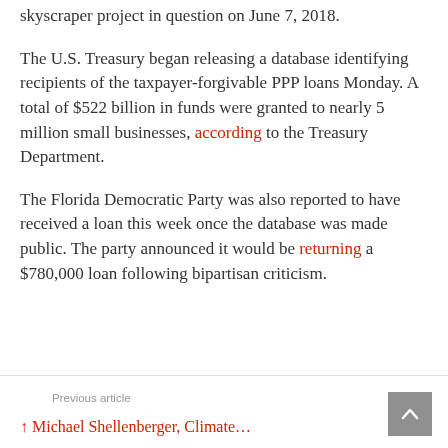skyscraper project in question on June 7, 2018.
The U.S. Treasury began releasing a database identifying recipients of the taxpayer-forgivable PPP loans Monday. A total of $522 billion in funds were granted to nearly 5 million small businesses, according to the Treasury Department.
The Florida Democratic Party was also reported to have received a loan this week once the database was made public. The party announced it would be returning a $780,000 loan following bipartisan criticism.
Previous article